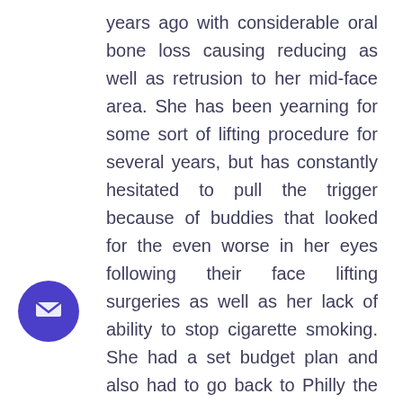years ago with considerable oral bone loss causing reducing as well as retrusion to her mid-face area. She has been yearning for some sort of lifting procedure for several years, but has constantly hesitated to pull the trigger because of buddies that looked for the even worse in her eyes following their face lifting surgeries as well as her lack of ability to stop cigarette smoking. She had a set budget plan and also had to go back to Philly the exact same night. After cautious discussion, she underwent lifting of her cheek, neck, and jawline making use of a mix of Sillhouette Instalift and also PDO Novathreads. She underwent 40cc of fat transfer to all facet of area in her face, with unique interest to her oral wasting and also her mid face retrusion. Fat transfer permitted considerable remediation of her soft cells quantity as well as